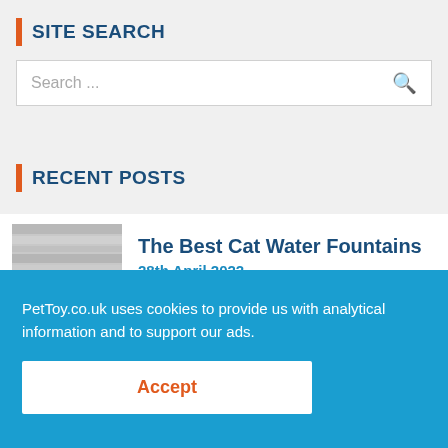SITE SEARCH
Search ...
RECENT POSTS
[Figure (photo): Thumbnail image of cat water fountain article, light grey/blue stone-like texture]
The Best Cat Water Fountains
28th April 2022
PetToy.co.uk uses cookies to provide us with analytical information and to support our ads.
Accept